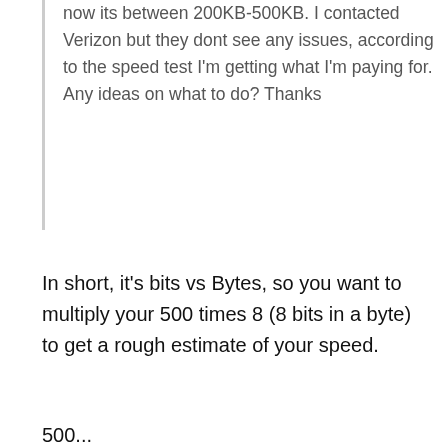now its between 200KB-500KB. I contacted Verizon but they dont see any issues, according to the speed test I'm getting what I'm paying for. Any ideas on what to do? Thanks
In short, it's bits vs Bytes, so you want to multiply your 500 times 8 (8 bits in a byte) to get a rough estimate of your speed.
500...